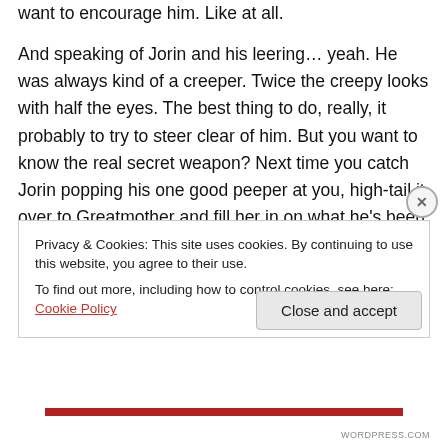want to encourage him.  Like at all.
And speaking of Jorin and his leering… yeah.  He was always kind of a creeper.  Twice the creepy looks with half the eyes.  The best thing to do, really, it probably to try to steer clear of him.  But you want to know the real secret weapon?  Next time you catch Jorin popping his one good peeper at you, high-tail it over to Greatmother and fill her in on what he's been up to.  Believe me, that old lady doesn't put up with any crap, and I can tell you from first-hand experience that if he sets her off, she will drop the
Privacy & Cookies: This site uses cookies. By continuing to use this website, you agree to their use.
To find out more, including how to control cookies, see here: Cookie Policy
Close and accept